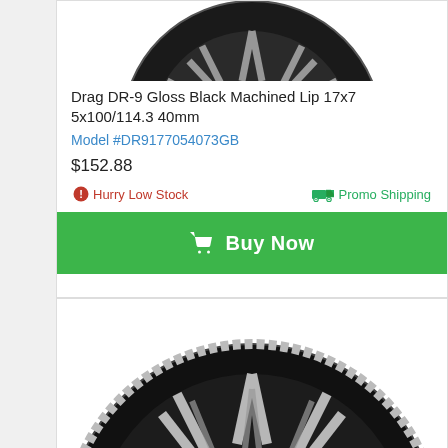[Figure (photo): Top portion of a Drag DR-9 Gloss Black Machined Lip wheel, partially cropped at top]
Drag DR-9 Gloss Black Machined Lip 17x7 5x100/114.3 40mm
Model #DR9177054073GB
$152.88
Hurry Low Stock
Promo Shipping
Buy Now
[Figure (photo): Drag wheel (chrome/black multi-spoke design) product photo, partially cropped at bottom]